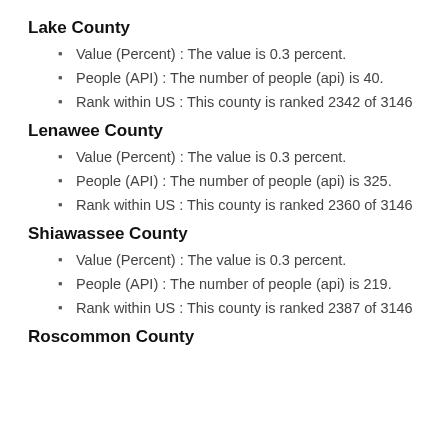Lake County
Value (Percent) : The value is 0.3 percent.
People (API) : The number of people (api) is 40.
Rank within US : This county is ranked 2342 of 3146
Lenawee County
Value (Percent) : The value is 0.3 percent.
People (API) : The number of people (api) is 325.
Rank within US : This county is ranked 2360 of 3146
Shiawassee County
Value (Percent) : The value is 0.3 percent.
People (API) : The number of people (api) is 219.
Rank within US : This county is ranked 2387 of 3146
Roscommon County